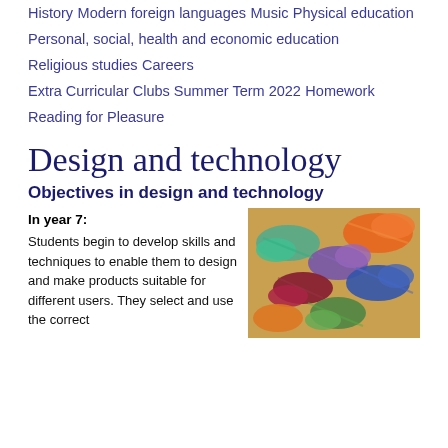History
Modern foreign languages
Music
Physical education
Personal, social, health and economic education
Religious studies
Careers
Extra Curricular Clubs Summer Term 2022
Homework
Reading for Pleasure
Design and technology
Objectives in design and technology
In year 7:
Students begin to develop skills and techniques to enable them to design and make products suitable for different users. They select and use the correct
[Figure (photo): Colorful skeins of yarn or thread in various colors including orange, teal, green, purple, red, and blue arranged together]